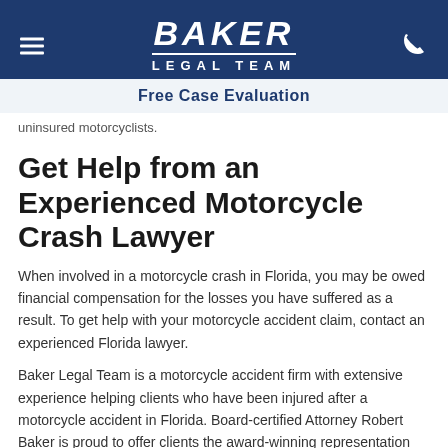[Figure (logo): Baker Legal Team logo — white bold italic BAKER text, horizontal divider, LEGAL TEAM text in white, on dark navy blue background, with hamburger menu icon on left and phone icon on right]
Free Case Evaluation
uninsured motorcyclists.
Get Help from an Experienced Motorcycle Crash Lawyer
When involved in a motorcycle crash in Florida, you may be owed financial compensation for the losses you have suffered as a result. To get help with your motorcycle accident claim, contact an experienced Florida lawyer.
Baker Legal Team is a motorcycle accident firm with extensive experience helping clients who have been injured after a motorcycle accident in Florida. Board-certified Attorney Robert Baker is proud to offer clients the award-winning representation they deserve. To set up